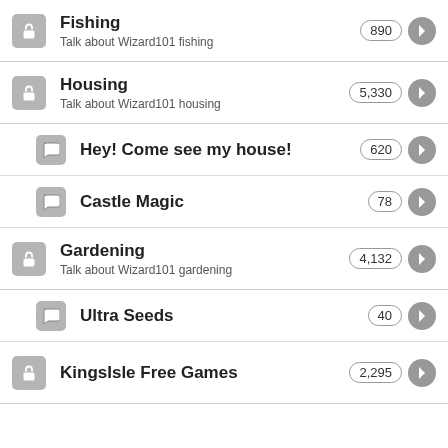Fishing | 890 | Talk about Wizard101 fishing
Housing | 5,330 | Talk about Wizard101 housing
Hey! Come see my house! | 620
Castle Magic | 78
Gardening | 4,132 | Talk about Wizard101 gardening
Ultra Seeds | 40
KingsIsle Free Games | 2,295